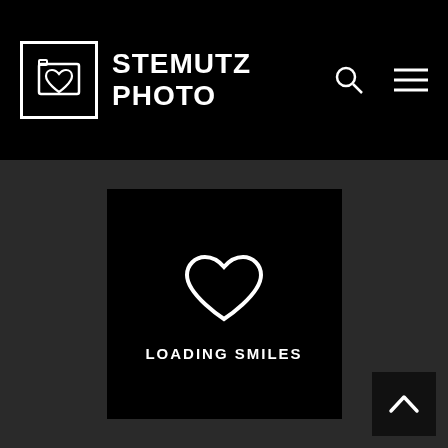STEMUTZ PHOTO
[Figure (logo): Loading smiles card with heart icon and text LOADING SMILES on black background]
[Figure (other): Back to top button with upward chevron arrow on dark background, bottom right corner]